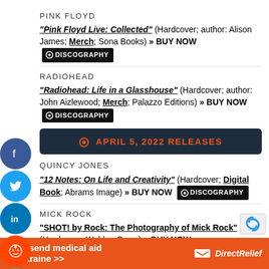PINK FLOYD
"Pink Floyd Live: Collected" (Hardcover; author: Alison James; Merch; Sona Books) » BUY NOW DISCOGRAPHY
RADIOHEAD
"Radiohead: Life in a Glasshouse" (Hardcover; author: John Aizlewood; Merch; Palazzo Editions) » BUY NOW DISCOGRAPHY
APRIL 5, 2022 RELEASES
QUINCY JONES
"12 Notes: On Life and Creativity" (Hardcover; Digital Book; Abrams Image) » BUY NOW DISCOGRAPHY
MICK ROCK
"SHOT! by Rock: The Photography of Mick Rock" (Hardcover; Weldon Owen) » BUY NOW
Help send medical aid to Ukraine >> DirectRelief